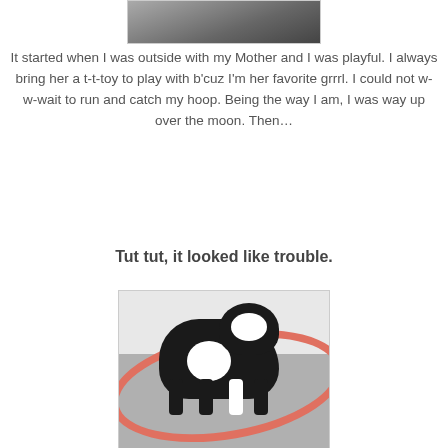[Figure (photo): Top portion of a photo showing a dark/outdoor scene, partially cropped]
It started when I was outside with my Mother and I was playful. I always bring her a t-t-toy to play with b'cuz I'm her favorite grrrl. I could not w-w-wait to run and catch my hoop. Being the way I am, I was way up over the moon. Then…
Tut tut, it looked like trouble.
[Figure (photo): A black and white Boston Terrier dog standing on what appears to be a trampoline or mat, with a pink/orange hula hoop around it]